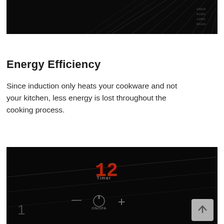[Figure (photo): Dark image at top of page, appears to show a dark/black background with light rays or sparks emanating outward.]
Energy Efficiency
Since induction only heats your cookware and not your kitchen, less energy is lost throughout the cooking process.
[Figure (photo): Close-up photo of an induction cooktop control panel with a red digital display showing '12' and 'Timer' label, with touch controls including ON/OFA and plus/minus buttons on a dark/black surface.]